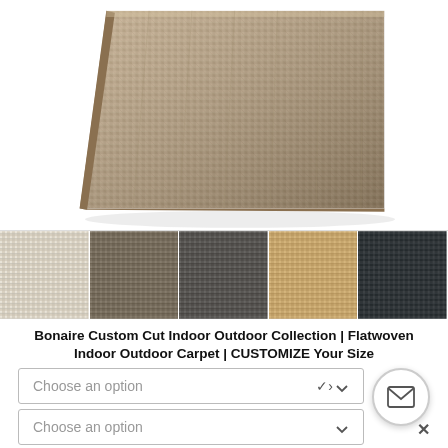[Figure (photo): Close-up photo of a beige/brown flatwoven carpet corner with textured weave pattern and bound edge, shown at an angle on white background]
[Figure (photo): Five carpet color swatches in a row: light cream/white, medium brown-gray, dark gray/charcoal, light tan/beige, and dark navy/black]
Bonaire Custom Cut Indoor Outdoor Collection | Flatwoven Indoor Outdoor Carpet | CUSTOMIZE Your Size
[Figure (screenshot): Two dropdown menus labeled 'Choose an option' with chevron arrows, and a circular email button with envelope icon and X close button]
Choose an option (first dropdown)
Choose an option (second dropdown)